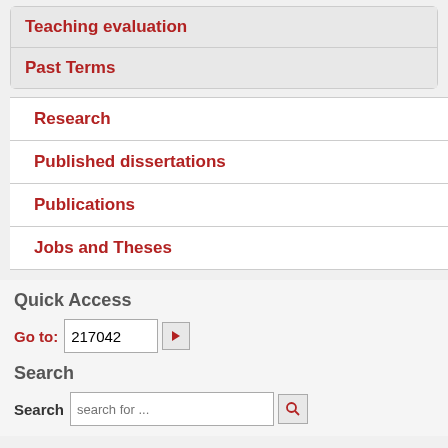Teaching evaluation
Past Terms
Research
Published dissertations
Publications
Jobs and Theses
Quick Access
Go to: 217042
Search
Search  search for ...